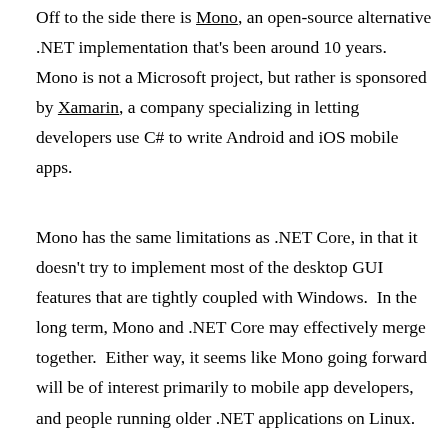Off to the side there is Mono, an open-source alternative .NET implementation that's been around 10 years.  Mono is not a Microsoft project, but rather is sponsored by Xamarin, a company specializing in letting developers use C# to write Android and iOS mobile apps.
Mono has the same limitations as .NET Core, in that it doesn't try to implement most of the desktop GUI features that are tightly coupled with Windows.  In the long term, Mono and .NET Core may effectively merge together.  Either way, it seems like Mono going forward will be of interest primarily to mobile app developers, and people running older .NET applications on Linux.